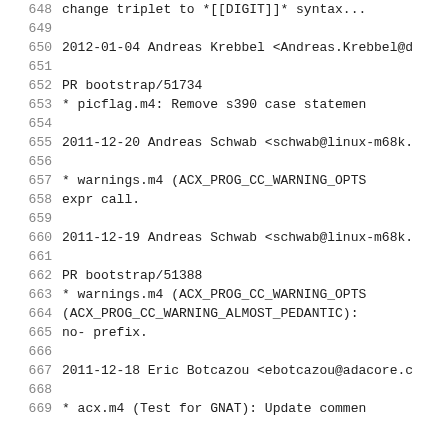648    change triplet to *[[DIGIT]]* syntax...
649
650    2012-01-04  Andreas Krebbel  <Andreas.Krebbel@d
651
652            PR bootstrap/51734
653            * picflag.m4: Remove s390 case statemen
654
655    2011-12-20  Andreas Schwab  <schwab@linux-m68k.
656
657            * warnings.m4 (ACX_PROG_CC_WARNING_OPTS
658            expr call.
659
660    2011-12-19  Andreas Schwab  <schwab@linux-m68k.
661
662            PR bootstrap/51388
663            * warnings.m4 (ACX_PROG_CC_WARNING_OPTS
664            (ACX_PROG_CC_WARNING_ALMOST_PEDANTIC):
665            no- prefix.
666
667    2011-12-18  Eric Botcazou  <ebotcazou@adacore.c
668
669            * acx.m4 (Test for GNAT): Update commen